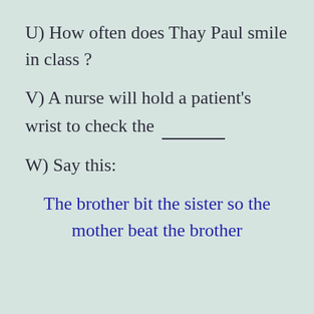U) How often does Thay Paul smile in class ?
V) A nurse will hold a patient's wrist to check the ______
W) Say this:
The brother bit the sister so the mother beat the brother